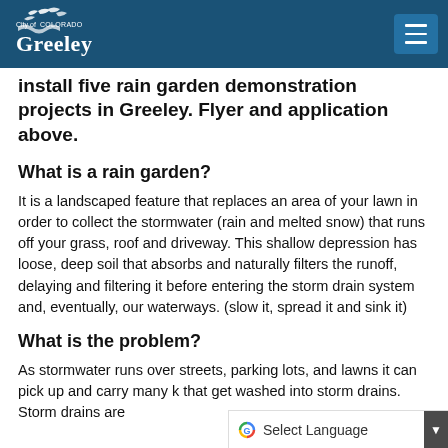City of Greeley
install five rain garden demonstration projects in Greeley. Flyer and application above.
What is a rain garden?
It is a landscaped feature that replaces an area of your lawn in order to collect the stormwater (rain and melted snow) that runs off your grass, roof and driveway. This shallow depression has loose, deep soil that absorbs and naturally filters the runoff, delaying and filtering it before entering the storm drain system and, eventually, our waterways. (slow it, spread it and sink it)
What is the problem?
As stormwater runs over streets, parking lots, and lawns it can pick up and carry many k... that get washed into storm drains. Storm drains are